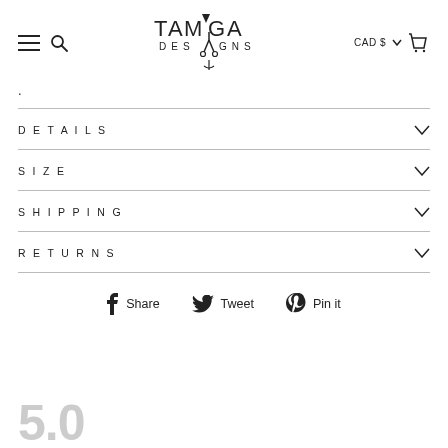TAMGA DESIGNS — CAD $ navigation header
.
DETAILS
SIZE
SHIPPING
RETURNS
Share   Tweet   Pin it